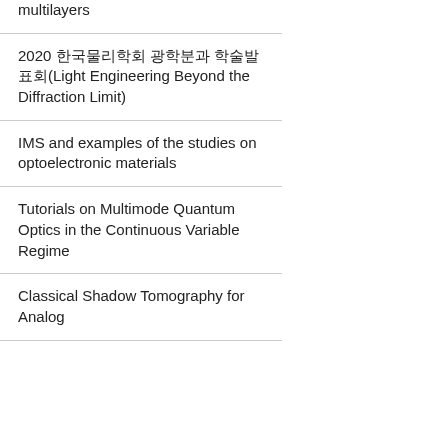multilayers
2020 한국물리학회 광학분과 학술발표회(Light Engineering Beyond the Diffraction Limit)
IMS and examples of the studies on optoelectronic materials
Tutorials on Multimode Quantum Optics in the Continuous Variable Regime
Classical Shadow Tomography for Analog